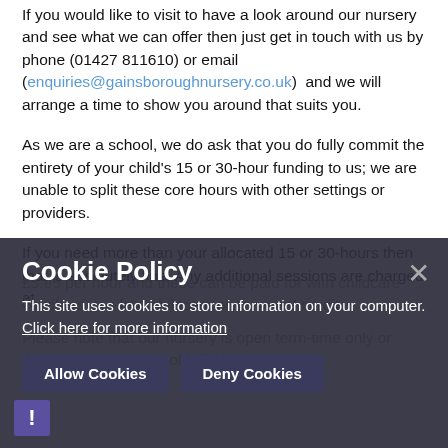If you would like to visit to have a look around our nursery and see what we can offer then just get in touch with us by phone (01427 811610) or email (enquiries@gainsboroughnursery.co.uk) and we will arrange a time to show you around that suits you.
As we are a school, we do ask that you do fully commit the entirety of your child's 15 or 30-hour funding to us; we are unable to split these core hours with other settings or providers.
If you need more than your allocated 15 or 30-hours then that is absolutely fine. Any additional sessions are charged at £5.95 per hour and these can be paid for with childcare vouchers, tax-free childcare or universal credit.
Please note that our nursery is open term-time only or during ... during school holidays.
Cookie Policy
This site uses cookies to store information on your computer. Click here for more information